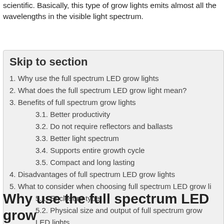scientific. Basically, this type of grow lights emits almost all the wavelengths in the visible light spectrum.
Skip to section
1. Why use the full spectrum LED grow lights
2. What does the full spectrum LED grow light mean?
3. Benefits of full spectrum grow lights
3.1. Better productivity
3.2. Do not require reflectors and ballasts
3.3. Better light spectrum
3.4. Supports entire growth cycle
3.5. Compact and long lasting
4. Disadvantages of full spectrum LED grow lights
5. What to consider when choosing full spectrum LED grow li...
5.1. Enclosure type
5.2. Physical size and output of full spectrum grow LED lights
5.3. Phase of growth
Why use the full spectrum LED grow